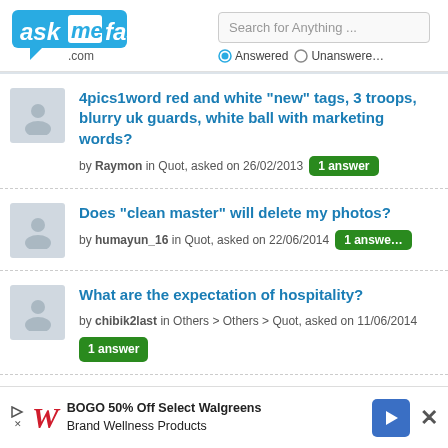[Figure (logo): AskMeFast.com logo with blue highlighted 'me' and speech bubble]
Search for Anything ...
Answered  Unanswered
4pics1word red and white "new" tags, 3 troops, blurry uk guards, white ball with marketing words? by Raymon in Quot, asked on 26/02/2013  1 answer
Does "clean master" will delete my photos? by humayun_16 in Quot, asked on 22/06/2014  1 answer
What are the expectation of hospitality? by chibik2last in Others > Others > Quot, asked on 11/06/2014  1 answer
[Figure (screenshot): BOGO 50% Off Select Walgreens Brand Wellness Products advertisement banner]